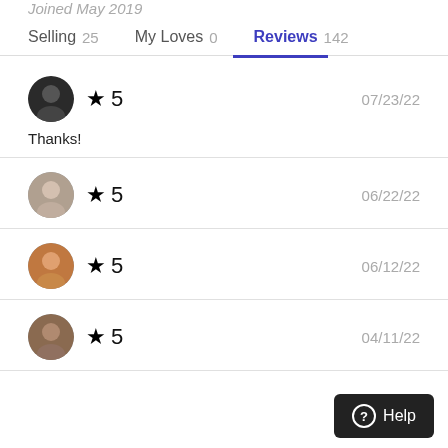Joined May 2019
Selling 25   My Loves 0   Reviews 142
★ 5   07/23/22   Thanks!
★ 5   06/22/22
★ 5   06/12/22
★ 5   04/11/22